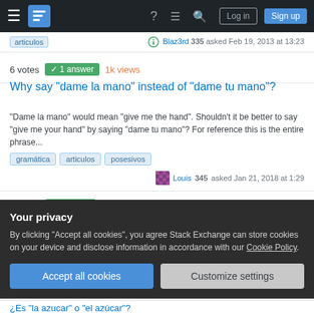Stack Exchange navigation bar with Log in and Sign up buttons
articulos | Blaz3rd 335 asked Feb 19, 2013 at 13:23
6 votes  ✓ 1 answer  1k views
Why say "dame la mano" instead of "dame tu mano"?
"Dame la mano" would mean "give me the hand". Shouldn't it be better to say "give me your hand" by saying "dame tu mano"? For reference this is the entire phrase...
gramática
articulos
posesivos
Louis 345 asked Jan 21, 2018 at 1:29
6 votes  4 answers  2k views
¿Por qué a veces se pone "la" antes de los nombres?
Your privacy
By clicking "Accept all cookies", you agree Stack Exchange can store cookies on your device and disclose information in accordance with our Cookie Policy.
Accept all cookies
Customize settings
¿Es "la azucar" o "el azúcar"?